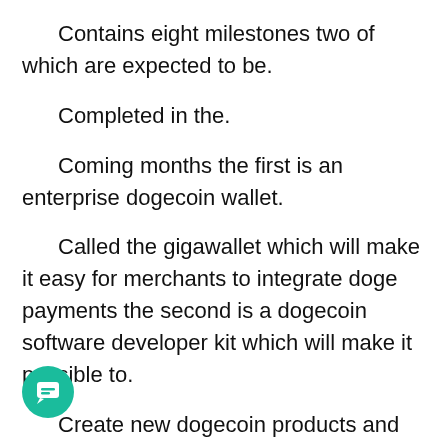Contains eight milestones two of which are expected to be.
Completed in the.
Coming months the first is an enterprise dogecoin wallet.
Called the gigawallet which will make it easy for merchants to integrate doge payments the second is a dogecoin software developer kit which will make it possible to.
Create new dogecoin products and further facilitate the integration of any existing dogecoin products including the gigawallet even though it's unlikely that those upgrades will have any direct effect on the price of doge in the short term the hype alone will probably be enough to make prices pump especially if elon